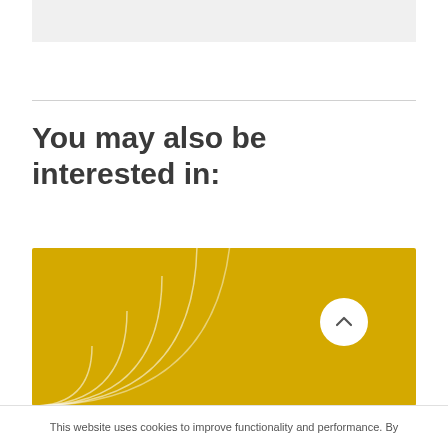[Figure (other): Gray banner/header bar at top of page]
You may also be interested in:
[Figure (illustration): Yellow/gold rectangular banner with decorative concentric arc curves in white emanating from bottom-left corner, and a white circular scroll-to-top button in the bottom-right area]
This website uses cookies to improve functionality and performance. By